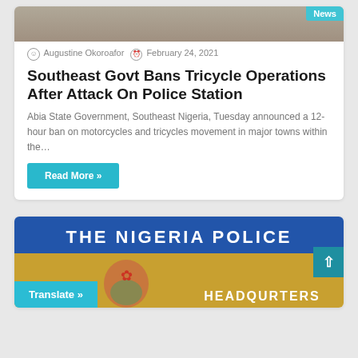[Figure (photo): Top portion of image showing dirt/ground, with a 'News' badge in top-right corner]
Augustine Okoroafor  February 24, 2021
Southeast Govt Bans Tricycle Operations After Attack On Police Station
Abia State Government, Southeast Nigeria, Tuesday announced a 12-hour ban on motorcycles and tricycles movement in major towns within the…
Read More »
[Figure (photo): Sign reading 'THE NIGERIA POLICE HEADQURTERS' with Nigerian coat of arms emblem on yellow/gold background]
Translate »